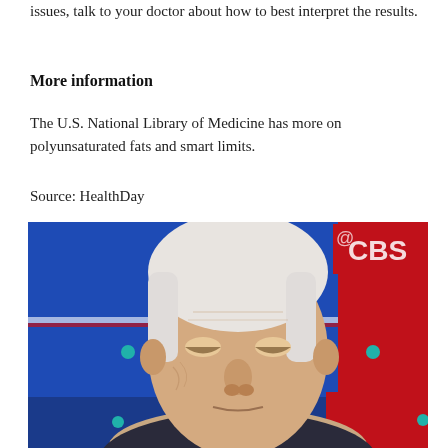issues, talk to your doctor about how to best interpret the results.
More information
The U.S. National Library of Medicine has more on polyunsaturated fats and smart limits.
Source: HealthDay
[Figure (photo): A man with white/grey hair photographed at what appears to be a CBS debate event, with blue and red backdrop panels visible in the background.]